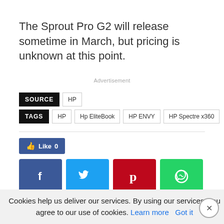The Sprout Pro G2 will release sometime in March, but pricing is unknown at this point.
Advertisement
SOURCE   HP
TAGS   HP   Hp EliteBook   HP ENVY   HP Spectre x360
[Figure (infographic): Social share buttons: Like 0 (Facebook blue), Facebook (f), Twitter (bird), Pinterest (p), WhatsApp (phone)]
Cookies help us deliver our services. By using our services, you agree to our use of cookies. Learn more   Got it